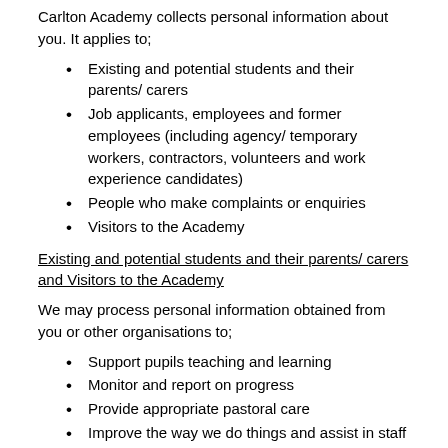Carlton Academy collects personal information about you. It applies to;
Existing and potential students and their parents/ carers
Job applicants, employees and former employees (including agency/ temporary workers, contractors, volunteers and work experience candidates)
People who make complaints or enquiries
Visitors to the Academy
Existing and potential students and their parents/ carers and Visitors to the Academy
We may process personal information obtained from you or other organisations to;
Support pupils teaching and learning
Monitor and report on progress
Provide appropriate pastoral care
Improve the way we do things and assist in staff training
Monitor and manage organisation data...